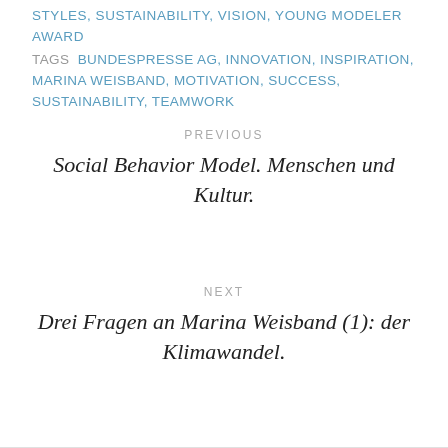STYLES, SUSTAINABILITY, VISION, YOUNG MODELER AWARD
TAGS  BUNDESPRESSE AG, INNOVATION, INSPIRATION, MARINA WEISBAND, MOTIVATION, SUCCESS, SUSTAINABILITY, TEAMWORK
PREVIOUS
Social Behavior Model. Menschen und Kultur.
NEXT
Drei Fragen an Marina Weisband (1): der Klimawandel.